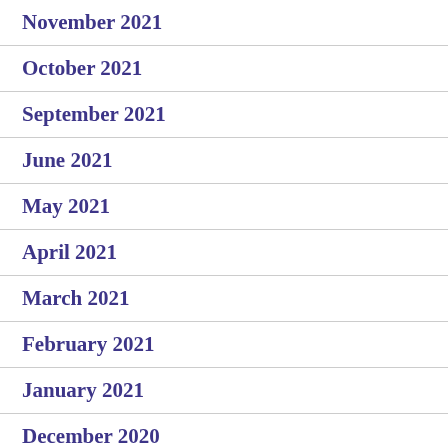November 2021
October 2021
September 2021
June 2021
May 2021
April 2021
March 2021
February 2021
January 2021
December 2020
October 2020
September 2020